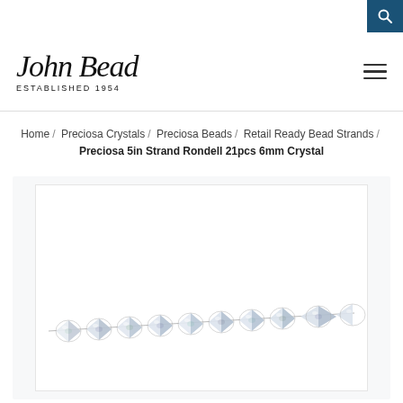[Figure (logo): John Bead logo with cursive script text 'John Bead' and subtitle 'ESTABLISHED 1954']
Home / Preciosa Crystals / Preciosa Beads / Retail Ready Bead Strands / Preciosa 5in Strand Rondell 21pcs 6mm Crystal
[Figure (photo): Photo of a strand of clear crystal Preciosa 6mm Rondell bicone beads on a white background]